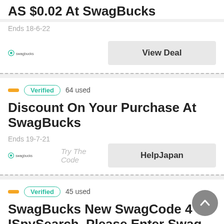AS $0.02 At SwagBucks
Ends 18-6-22
View Deal
Verified  64 used
Discount On Your Purchase At SwagBucks
Ends 19-7-21
Try The Code    HelpJapan
Verified  45 used
SwagBucks New SwagCode 4 ISpySearch. Please Enter Swag Code As Much As